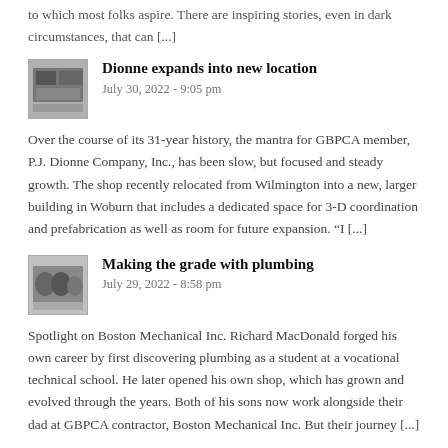to which most folks aspire. There are inspiring stories, even in dark circumstances, that can [...]
[Figure (photo): Thumbnail image for Dionne expands into new location article]
Dionne expands into new location
July 30, 2022 - 9:05 pm
Over the course of its 31-year history, the mantra for GBPCA member, P.J. Dionne Company, Inc., has been slow, but focused and steady growth. The shop recently relocated from Wilmington into a new, larger building in Woburn that includes a dedicated space for 3-D coordination and prefabrication as well as room for future expansion. “I [...]
[Figure (photo): Thumbnail image for Making the grade with plumbing article]
Making the grade with plumbing
July 29, 2022 - 8:58 pm
Spotlight on Boston Mechanical Inc. Richard MacDonald forged his own career by first discovering plumbing as a student at a vocational technical school. He later opened his own shop, which has grown and evolved through the years. Both of his sons now work alongside their dad at GBPCA contractor, Boston Mechanical Inc. But their journey [...]